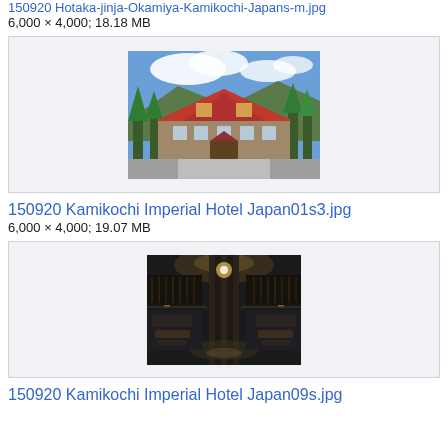150920 Hotaka-jinja-Okamiya-Kamikochi-Japans-m.jpg (truncated/cut off at top)
6,000 × 4,000; 18.18 MB
[Figure (photo): Exterior of Kamikochi Imperial Hotel, a wooden Alpine-style building with red roof surrounded by trees and mountains]
150920 Kamikochi Imperial Hotel Japan01s3.jpg
6,000 × 4,000; 19.07 MB
[Figure (photo): Interior atrium of Kamikochi Imperial Hotel, showing a central column with symmetric seating areas and warm lighting from above]
150920 Kamikochi Imperial Hotel Japan09s.jpg